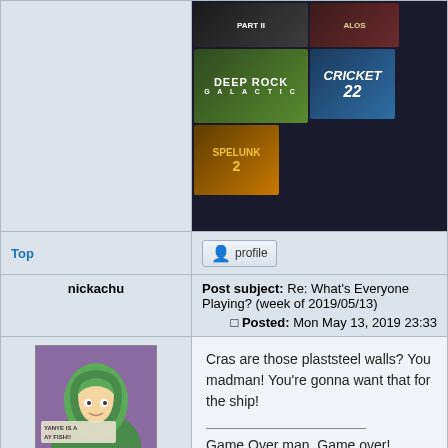[Figure (screenshot): Game banner showing Deep Rock Galactic, Cricket 22, Spelunky 2, and other game covers on a dark background]
Top
profile
nickachu
Post subject: Re: What's Everyone Playing? (week of 2019/05/13)
Posted: Mon May 13, 2019 23:33
[Figure (photo): Avatar of nickachu showing a South Park character (Kyle) with green hood and a sign saying YANYE IS A AY FISH!!]
Hello
Joined: 14th Oct, 2008
Posts: 6981
Location: You're a location
Cras are those plaststeel walls? You madman! You're gonna want that for the ship!

_______________

Game Over man, Game over!
Top
profile
Cras
Post subject: Re: What's Everyone Playing? (week of 2019/05/13)
Posted: Mon May 13, 2019 23:39